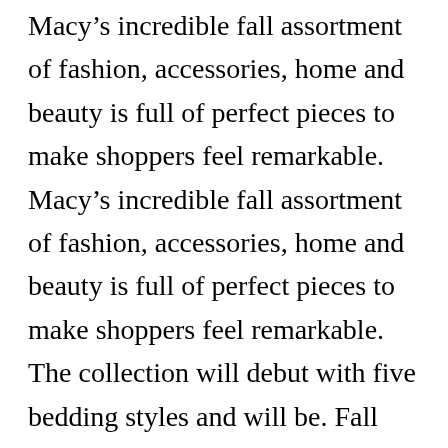Macy's incredible fall assortment of fashion, accessories, home and beauty is full of perfect pieces to make shoppers feel remarkable. Macy's incredible fall assortment of fashion, accessories, home and beauty is full of perfect pieces to make shoppers feel remarkable. The collection will debut with five bedding styles and will be. Fall throw pillows, glass pumpkins, and fall candles will brighten your home with shades of orange, red, yellow, and other fall colors. Macy�s inc <m.n> reported a more than 20% drop in quarterly comparable